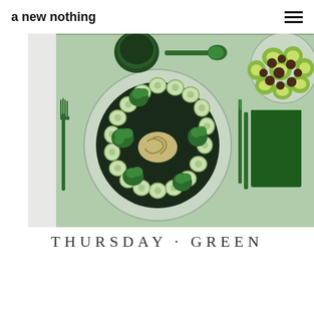a new nothing
[Figure (photo): Overhead/top-down view of a green-themed table setting on a sage green placemat. Center is a round glass plate with dark food (black rice or seaweed) topped with pasta, ringed by sliced cucumbers and broccoli florets. To the left are green plastic fork and knife. Upper center shows a dark green cup/bowl and a green spoon. Upper right has a glass plate with kiwi slices and dark round fruits (grapes or tomatoes). To the right is a folded dark green napkin with a green knife beside it.]
THURSDAY · GREEN